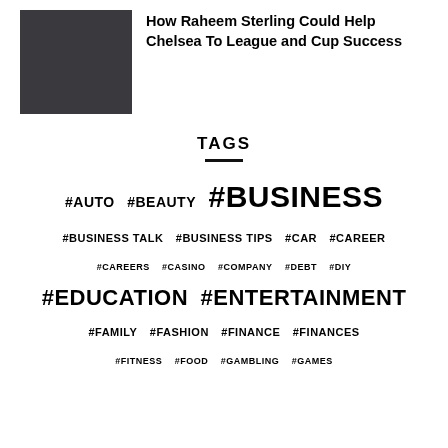[Figure (photo): Dark gray/charcoal placeholder image thumbnail for article]
How Raheem Sterling Could Help Chelsea To League and Cup Success
TAGS
#AUTO
#BEAUTY
#BUSINESS
#BUSINESS TALK
#BUSINESS TIPS
#CAR
#CAREER
#CAREERS
#CASINO
#COMPANY
#DEBT
#DIY
#EDUCATION
#ENTERTAINMENT
#FAMILY
#FASHION
#FINANCE
#FITNESS
#FOOD
#GAMBLING
#GAMES